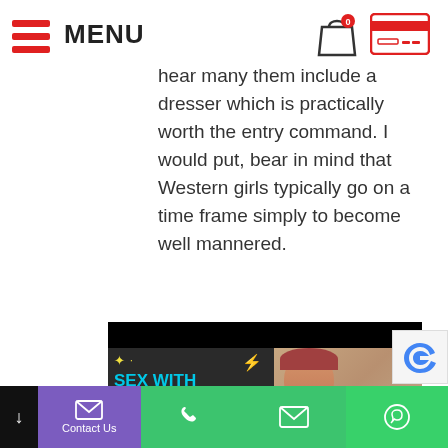MENU
hear many them include a dresser which is practically worth the entry command. I would put, bear in mind that Western girls typically go on a time frame simply to become well mannered.
[Figure (screenshot): Video thumbnail showing text 'SEX WITH JAPANESE LADIES' in cyan on dark background with a woman's face on the right, and a red strip at bottom with '4 TYPES' text]
Contact Us | phone | email | whatsapp